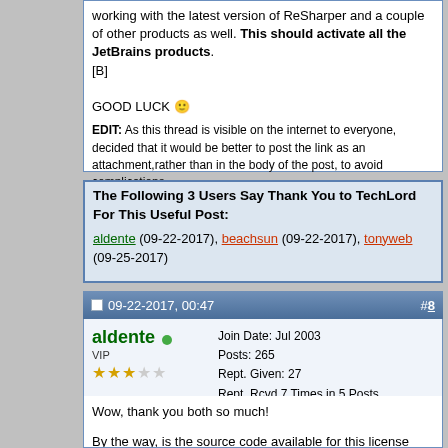working with the latest version of ReSharper and a couple of other products as well. This should activate all the JetBrains products.
[B]

GOOD LUCK 😊
EDIT: As this thread is visible on the internet to everyone, decided that it would be better to post the link as an attachment,rather than in the body of the post, to avoid complications.
Last edited by TechLord; 02-26-2018 at 07:10.
The Following 3 Users Say Thank You to TechLord For This Useful Post:
aldente (09-22-2017), beachsun (09-22-2017), tonyweb (09-25-2017)
09-22-2017, 00:47  #8
aldente VIP
Join Date: Jul 2003
Posts: 265
Rept. Given: 27
Rept. Rcvd 7 Times in 5 Posts
Thanks Given: 34
Thanks Rcvd at 10 Times in 9 Posts
Wow, thank you both so much!

By the way, is the source code available for this license